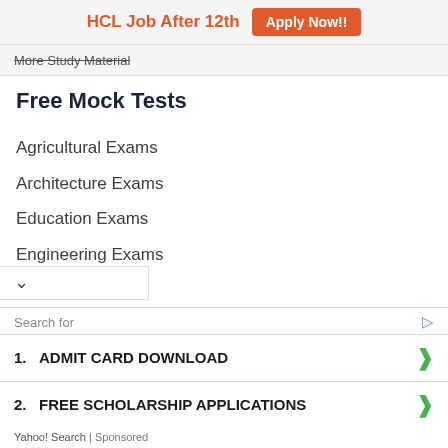[Figure (infographic): Ad banner: HCL Job After 12th with orange Apply Now!! button]
More Study Material
Free Mock Tests
Agricultural Exams
Architecture Exams
Education Exams
Engineering Exams
Law Exams
MBA Exams
Medical Exams
Pharmacy Exams
Science Exams
More Mock Tests
Search for
1. ADMIT CARD DOWNLOAD
2. FREE SCHOLARSHIP APPLICATIONS
Yahoo! Search | Sponsored